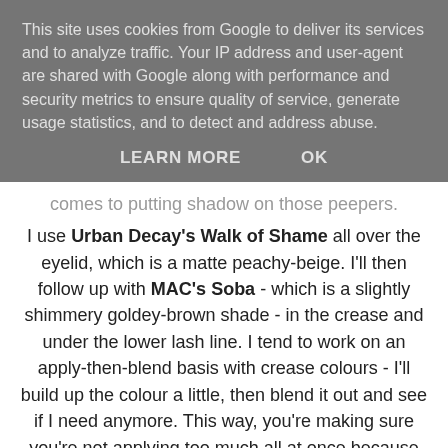This site uses cookies from Google to deliver its services and to analyze traffic. Your IP address and user-agent are shared with Google along with performance and security metrics to ensure quality of service, generate usage statistics, and to detect and address abuse.
LEARN MORE   OK
comes to putting shadow on those peepers.
I use Urban Decay's Walk of Shame all over the eyelid, which is a matte peachy-beige. I'll then follow up with MAC's Soba - which is a slightly shimmery goldey-brown shade - in the crease and under the lower lash line. I tend to work on an apply-then-blend basis with crease colours - I'll build up the colour a little, then blend it out and see if I need anymore. This way, you're making sure you're not applying too much all at once because yes, that can happen and it can look awful, not to mention it'll crease easier. I'll then add a tiny bit of Urban Decay's Faint - a dark matte brown - through the crease just to give it a little more depth and run that into the outer V section and the outer part of my lower